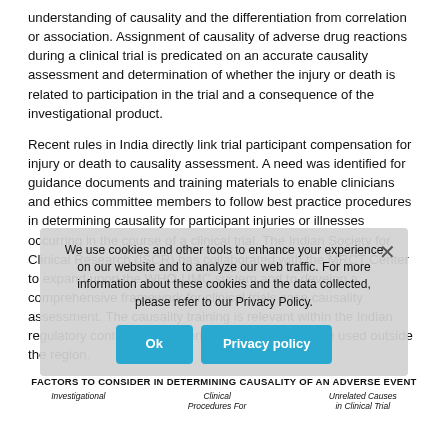understanding of causality and the differentiation from correlation or association. Assignment of causality of adverse drug reactions during a clinical trial is predicated on an accurate causality assessment and determination of whether the injury or death is related to participation in the trial and a consequence of the investigational product.
Recent rules in India directly link trial participant compensation for injury or death to causality assessment. A need was identified for guidance documents and training materials to enable clinicians and ethics committee members to follow best practice procedures in determining causality for participant injuries or illnesses occurring in the course of a clinical trial. The Indian Society for Clinical Research (ISCR) has collaborated with the MRCT Center to expand upon the WHO-UMC system and to develop a comprehensive framework for clinical trials case causality assessment. The causality training is relevant within the Indian regulatory context for compensation and can also be used outside the region.
[Figure (infographic): Cookie consent overlay with text: 'We use cookies and other tools to enhance your experience on our website and to analyze our web traffic. For more information about these cookies and the data collected, please refer to our Privacy Policy.' with Ok and Privacy policy buttons and a close X button.]
| Investigational | Clinical Procedures For | Unrelated Causes in Clinical Trial |
| --- | --- | --- |